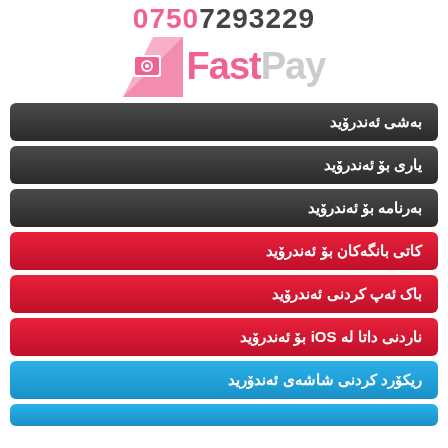[Figure (logo): Phone number 07507293229 and FastPay logo with pink triangle icon]
بەشی ئەندرۆید
یاری بۆ ئەندرۆید
بەرنامە بۆ ئەندرۆید
کاتی بانگەکان بۆ ئەندرۆید
باک ئەپ کردنی ئەندرۆید
ناردنی داتا لە iOS بۆ ئەندرۆید
ریکۆرد کردنی شاشەی ئەندۆرید
(partial, blue button cut off at bottom)